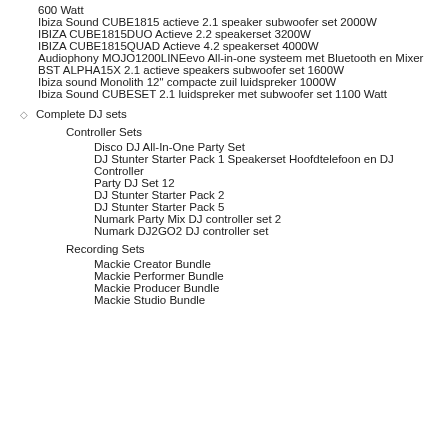600 Watt
Ibiza Sound CUBE1815 actieve 2.1 speaker subwoofer set 2000W
IBIZA CUBE1815DUO Actieve 2.2 speakerset 3200W
IBIZA CUBE1815QUAD Actieve 4.2 speakerset 4000W
Audiophony MOJO1200LINEevo All-in-one systeem met Bluetooth en Mixer
BST ALPHA15X 2.1 actieve speakers subwoofer set 1600W
Ibiza sound Monolith 12" compacte zuil luidspreker 1000W
Ibiza Sound CUBESET 2.1 luidspreker met subwoofer set 1100 Watt
Complete DJ sets
Controller Sets
Disco DJ All-In-One Party Set
DJ Stunter Starter Pack 1 Speakerset Hoofdtelefoon en DJ Controller
Party DJ Set 12
DJ Stunter Starter Pack 2
DJ Stunter Starter Pack 5
Numark Party Mix DJ controller set 2
Numark DJ2GO2 DJ controller set
Recording Sets
Mackie Creator Bundle
Mackie Performer Bundle
Mackie Producer Bundle
Mackie Studio Bundle